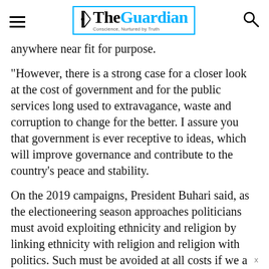The Guardian — Conscience, Nurtured by Truth
anywhere near fit for purpose.
“However, there is a strong case for a closer look at the cost of government and for the public services long used to extravagance, waste and corruption to change for the better. I assure you that government is ever receptive to ideas, which will improve governance and contribute to the country’s peace and stability.
On the 2019 campaigns, President Buhari said, as the electioneering season approaches politicians must avoid exploiting ethnicity and religion by linking ethnicity with religion and religion with politics. Such must be avoided at all costs if we a